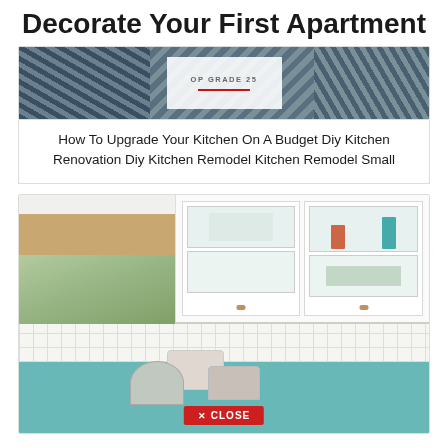Decorate Your First Apartment
[Figure (photo): Kitchen backsplash with patterned blue and white tiles and a white overlay element with a red horizontal line]
How To Upgrade Your Kitchen On A Budget Diy Kitchen Renovation Diy Kitchen Remodel Kitchen Remodel Small
[Figure (photo): Bright white kitchen with glass-front upper cabinets, hexagonal white tile backsplash, wood countertop, a window with a tan blind overlooking trees, and colorful pots on the counter. A red CLOSE button is overlaid at the bottom center.]